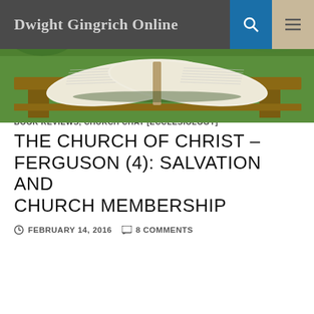[Figure (photo): Open Bible on a wooden bench outdoors, with green grass background]
Dwight Gingrich Online
Tag Archives: baptism
BOOK REVIEWS, CHURCH CHAT [ECCLESIOLOGY]
THE CHURCH OF CHRIST – FERGUSON (4): SALVATION AND CHURCH MEMBERSHIP
FEBRUARY 14, 2016   8 COMMENTS